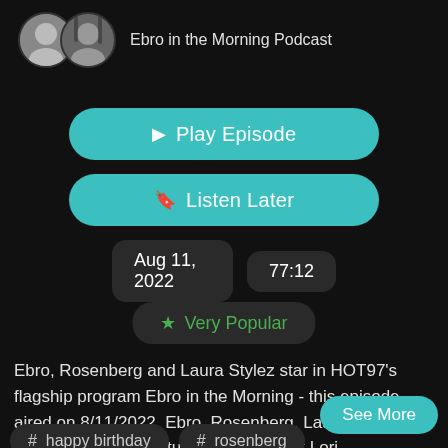[Figure (screenshot): Podcast app screenshot showing episode details for Ebro in the Morning Podcast]
Ebro in the Morning Podcast
Play Episode
Listen Later
Aug 11, 2022
77:12
Very Popular
Ebro, Rosenberg and Laura Stylez star in HOT97's flagship program Ebro in the Morning - this episode aired on 8/11/2022. Ebro, Rosenberg, Laura Stylez and the crew are in the studio talking about Lori
See More
# happy birthday
# rosenberg